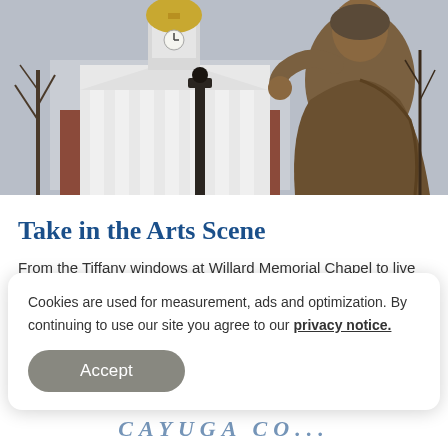[Figure (photo): Outdoor photo showing a bronze statue of a woman in the foreground on the right, and a historic white building with columns and a golden dome/clock tower in the background. Bare winter trees visible. Overcast sky.]
Take in the Arts Scene
From the Tiffany windows at Willard Memorial Chapel to live performances at Morgan Opera House, arts and culture come alive in Cayuga County!
Cookies are used for measurement, ads and optimization. By continuing to use our site you agree to our privacy notice.
Accept